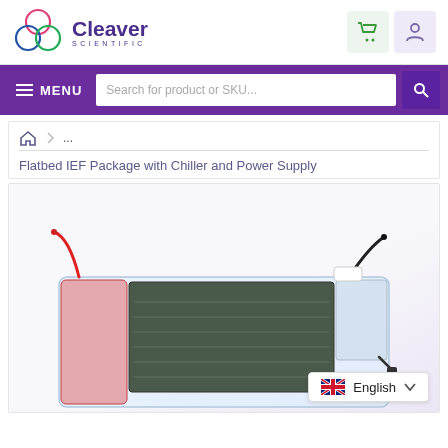Cleaver Scientific
MENU
Search for product or SKU...
... Flatbed IEF Package with Chiller and Power Supply
[Figure (photo): Flatbed IEF electrophoresis unit with transparent lid, showing electrode connections with red and black cables, a flat gel tray, and a buffer tank, photographed on a white background.]
English